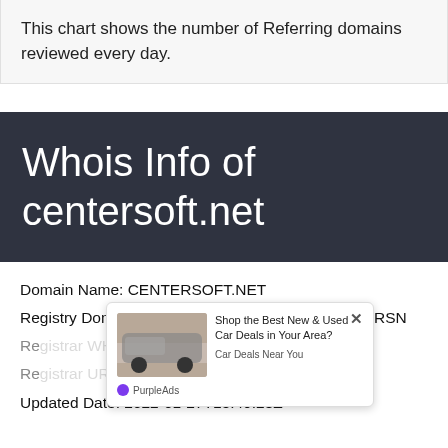This chart shows the number of Referring domains reviewed every day.
Whois Info of centersoft.net
Domain Name: CENTERSOFT.NET
Registry Domain ID: 2485028764_DOMAIN_NET-VRSN
Registrar WHOIS Server: whois.godaddy.com
Registrar URL: http://www.godaddy.com
Updated Date: 2022-01-27T15:49:23Z
[Figure (other): Advertisement overlay for car deals with close button and PurpleAds branding]